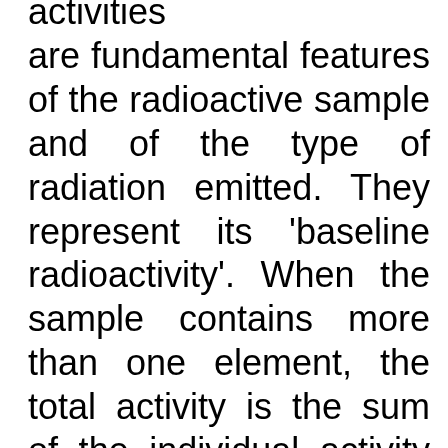activities are fundamental features of the radioactive sample and of the type of radiation emitted. They represent its 'baseline radioactivity'. When the sample contains more than one element, the total activity is the sum of the individual activity values.